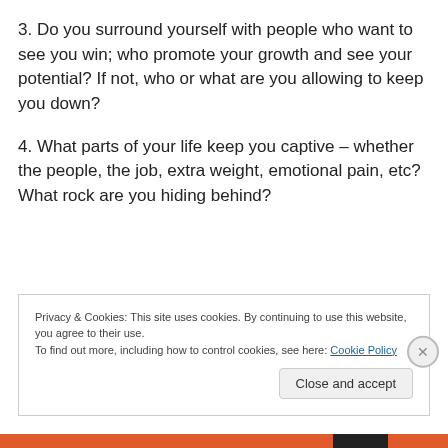3. Do you surround yourself with people who want to see you win; who promote your growth and see your potential? If not, who or what are you allowing to keep you down?
4. What parts of your life keep you captive – whether the people, the job, extra weight, emotional pain, etc?  What rock are you hiding behind?
Privacy & Cookies: This site uses cookies. By continuing to use this website, you agree to their use.
To find out more, including how to control cookies, see here: Cookie Policy